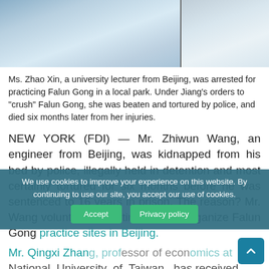[Figure (photo): Two photos side by side: left shows a person in white clothing, right shows another person]
Ms. Zhao Xin, a university lecturer from Beijing, was arrested for practicing Falun Gong in a local park. Under Jiang's orders to "crush" Falun Gong, she was beaten and tortured by police, and died six months later from her injuries.
NEW YORK (FDI) — Mr. Zhiwun Wang, an engineer from Beijing, was kidnapped from his bed by police, illegally held in detention and most certainly tortured for six months before he was sentenced to 16 years in prison. The reason? Mr. Wang volunteered his time to help organize Falun Gong practice sites in Beijing.
Mr. Qingxi Zhang, professor of economics at National University of Taiwan, has received